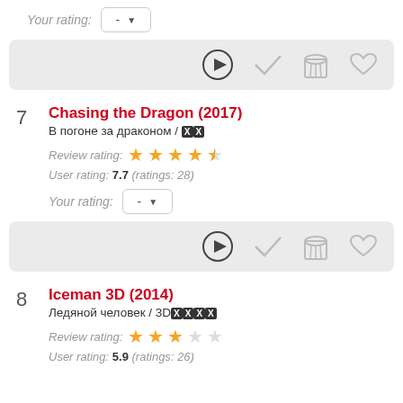Your rating: - ▼
[Figure (infographic): Action icons: play button circle, checkmark, popcorn bucket, heart]
7 Chasing the Dragon (2017) / В погоне за драконом / XX
Review rating: ★★★★½☆
User rating: 7.7 (ratings: 28)
Your rating: - ▼
[Figure (infographic): Action icons: play button circle, checkmark, popcorn bucket, heart]
8 Iceman 3D (2014) / Ледяной человек / 3DXXXX
Review rating: ★★★☆☆
User rating: 5.9 (ratings: 26)